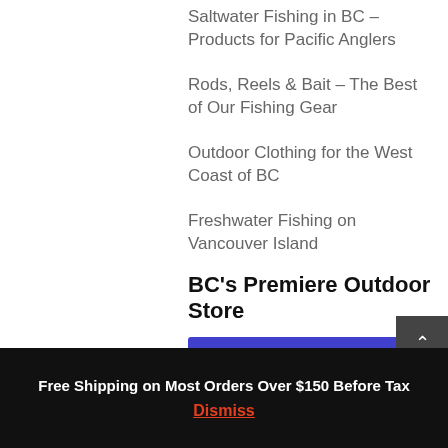Saltwater Fishing in BC – Products for Pacific Anglers
Rods, Reels & Bait – The Best of Our Fishing Gear
Outdoor Clothing for the West Coast of BC
Freshwater Fishing on Vancouver Island
BC's Premiere Outdoor Store
SHOP NOW
Free Shipping on Most Orders Over $150 Before Tax
Dismiss